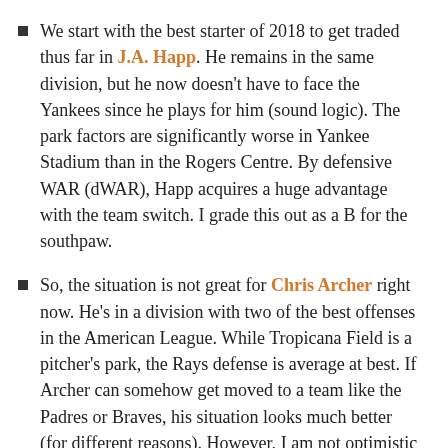We start with the best starter of 2018 to get traded thus far in J.A. Happ. He remains in the same division, but he now doesn't have to face the Yankees since he plays for him (sound logic). The park factors are significantly worse in Yankee Stadium than in the Rogers Centre. By defensive WAR (dWAR), Happ acquires a huge advantage with the team switch. I grade this out as a B for the southpaw.
So, the situation is not great for Chris Archer right now. He's in a division with two of the best offenses in the American League. While Tropicana Field is a pitcher's park, the Rays defense is average at best. If Archer can somehow get moved to a team like the Padres or Braves, his situation looks much better (for different reasons). However, I am not optimistic that Archer gets moved.